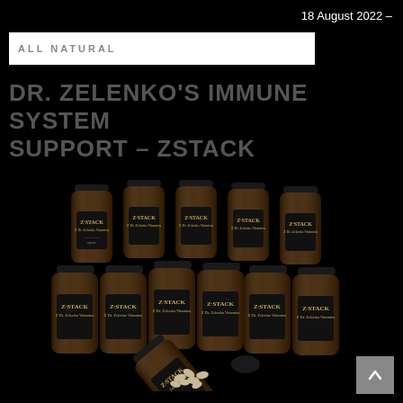18 August 2022 –
[Figure (other): White banner with faded text 'ALL NATURAL']
DR. ZELENKO'S IMMUNE SYSTEM SUPPORT – ZSTACK
[Figure (photo): Multiple dark amber bottles of Z STACK Dr. Zelenko's Vitamins arranged in two rows, with one bottle tipped over spilling capsules in the foreground, all on a black background.]